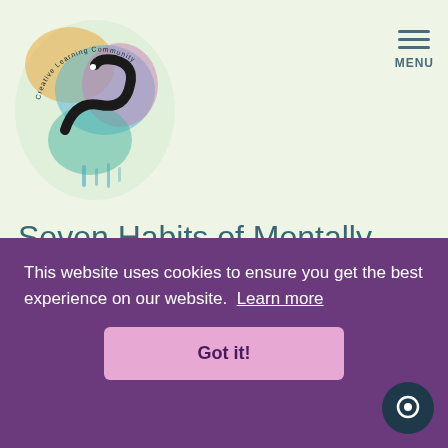[Figure (logo): Creative Learning Community logo with colorful watercolor splash (blue, teal, orange, pink) and a snake/ribbon graphic with text 'Creative Learning Community' written in an arc]
MENU
Seven Habits of Mentally Healthy People - Download
An informative booklet that describes defining characteristics of mentally healthy and happy...
This website uses cookies to ensure you get the best experience on our website. Learn more
Got it!